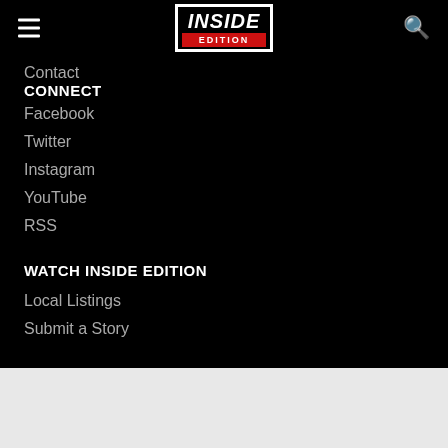Inside Edition — site navigation header
Contact
CONNECT
Facebook
Twitter
Instagram
YouTube
RSS
WATCH INSIDE EDITION
Local Listings
Submit a Story
SITES WE LOVE